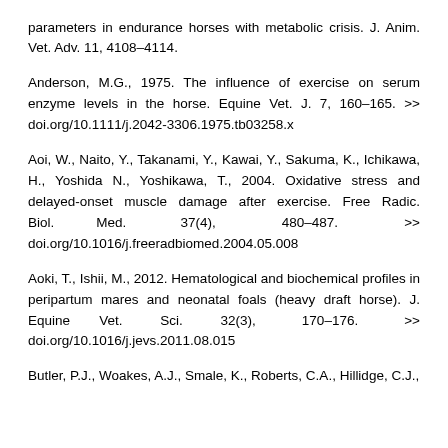parameters in endurance horses with metabolic crisis. J. Anim. Vet. Adv. 11, 4108–4114.
Anderson, M.G., 1975. The influence of exercise on serum enzyme levels in the horse. Equine Vet. J. 7, 160–165. >> doi.org/10.1111/j.2042-3306.1975.tb03258.x
Aoi, W., Naito, Y., Takanami, Y., Kawai, Y., Sakuma, K., Ichikawa, H., Yoshida N., Yoshikawa, T., 2004. Oxidative stress and delayed-onset muscle damage after exercise. Free Radic. Biol. Med. 37(4), 480–487. >> doi.org/10.1016/j.freeradbiomed.2004.05.008
Aoki, T., Ishii, M., 2012. Hematological and biochemical profiles in peripartum mares and neonatal foals (heavy draft horse). J. Equine Vet. Sci. 32(3), 170–176. >> doi.org/10.1016/j.jevs.2011.08.015
Butler, P.J., Woakes, A.J., Smale, K., Roberts, C.A., Hillidge, C.J.,